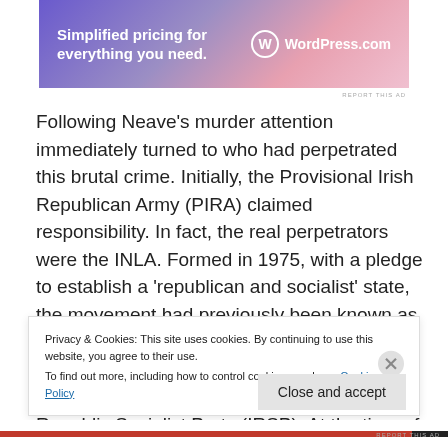[Figure (other): WordPress.com advertisement banner with gradient purple-pink background. Text reads 'Simplified pricing for everything you need.' with WordPress.com logo on right.]
Following Neave's murder attention immediately turned to who had perpetrated this brutal crime. Initially, the Provisional Irish Republican Army (PIRA) claimed responsibility. In fact, the real perpetrators were the INLA. Formed in 1975, with a pledge to establish a 'republican and socialist' state, the movement had previously been known as the People's Liberation Army, which sprang up in late 1974, when the Official IRA attacked members of the newly formed Irish Republic Socialist Party (IRSP). At the time of Neave's death, it was believed that the INLA had
Privacy & Cookies: This site uses cookies. By continuing to use this website, you agree to their use.
To find out more, including how to control cookies, see here: Cookie Policy
Close and accept